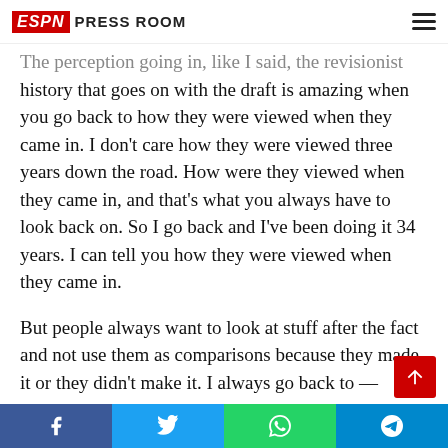ESPN Press Room
The perception going in, like I said, the revisionist history that goes on with the draft is amazing when you go back to how they were viewed when they came in.  I don't care how they were viewed three years down the road.  How were they viewed when they came in, and that's what you always have to look back on.  So I go back and I've been doing it 34 years.  I can tell you how they were viewed when they came in.
But people always want to look at stuff after the fact and not use them as comparisons because they made it or they didn't make it.  I always go back to — everybody thought they exactly had all the answers then but they didn't.